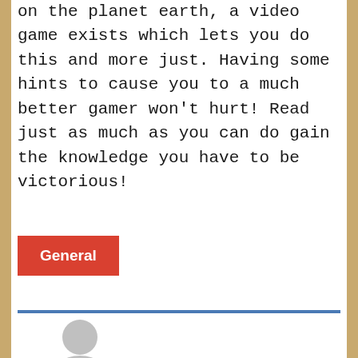on the planet earth, a video game exists which lets you do this and more just. Having some hints to cause you to a much better gamer won't hurt! Read just as much as you can do gain the knowledge you have to be victorious!
General
[Figure (illustration): Partial avatar/person silhouette icon in grey, cropped at bottom of page]